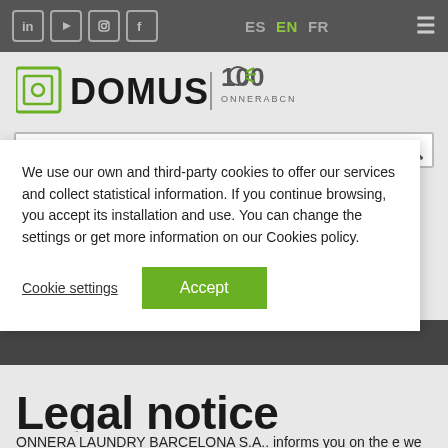Social icons: LinkedIn, YouTube, Instagram, Facebook | Language: ES EN FR | Menu
[Figure (logo): DOMUS logo with Onnera BCN 100 years branding]
We use our own and third-party cookies to offer our services and collect statistical information. If you continue browsing, you accept its installation and use. You can change the settings or get more information on our Cookies policy.
Cookie settings | Accept
Legal notice
ONNERA LAUNDRY BARCELONA S.A.. informs you on the e... we enclose the data of the persons and companies that ac... previously on occasion of other contracts, communications... in public registration and other soucers legally admitted are